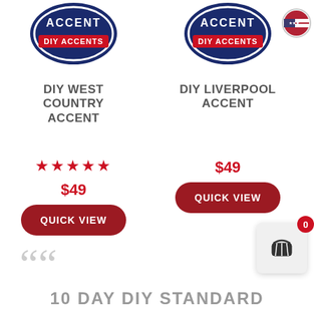[Figure (logo): DIY West Country Accent logo - navy blue speech bubble with ACCENT text]
DIY WEST COUNTRY ACCENT
★★★★★
$49
QUICK VIEW
[Figure (logo): DIY Liverpool Accent logo - navy blue speech bubble with ACCENT text]
DIY LIVERPOOL ACCENT
$49
QUICK VIEW
[Figure (illustration): US flag circle icon in top right]
[Figure (illustration): Shopping cart widget with badge showing 0]
““
10 DAY DIY STANDARD